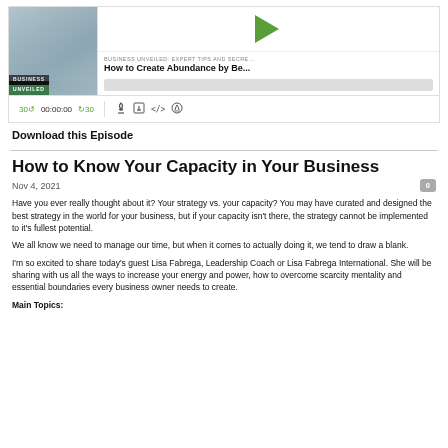[Figure (screenshot): Podcast player widget for 'Business Unveiled: Expert Tips and Secrets' showing episode 'How to Create Abundance by Be...' with play button, progress bar, and controls showing 30-second skip, 00:00:00 time, and icons for RSS, download, embed, and settings.]
Download this Episode
How to Know Your Capacity in Your Business
Nov 4, 2021
Have you ever really thought about it? Your strategy vs. your capacity? You may have curated and designed the best strategy in the world for your business, but if your capacity isn't there, the strategy cannot be implemented to it's fullest potential.
We all know we need to manage our time, but when it comes to actually doing it, we tend to draw a blank.
I'm so excited to share today's guest Lisa Fabrega, Leadership Coach or Lisa Fabrega International. She will be sharing with us all the ways to increase your energy and power, how to overcome scarcity mentality and essential boundaries every business owner needs to create.
Main Topics: